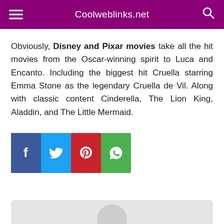Coolweblinks.net
Obviously, Disney and Pixar movies take all the hit movies from the Oscar-winning spirit to Luca and Encanto. Including the biggest hit Cruella starring Emma Stone as the legendary Cruella de Vil. Along with classic content Cinderella, The Lion King, Aladdin, and The Little Mermaid.
[Figure (infographic): Social share buttons: Facebook (blue), Twitter (light blue), Pinterest (red), WhatsApp (green)]